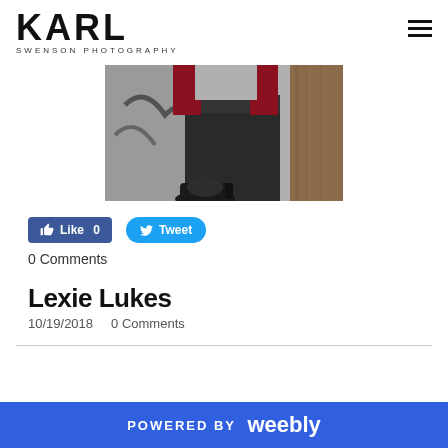KARL SWENSON PHOTOGRAPHY
[Figure (photo): Close-up photo of a person's lower body wearing dark pants and dark sneakers, leaning against a wooden post with graffiti wall in background]
Like 0
Tweet
0 Comments
Lexie Lukes
10/19/2018   0 Comments
POWERED BY weebly